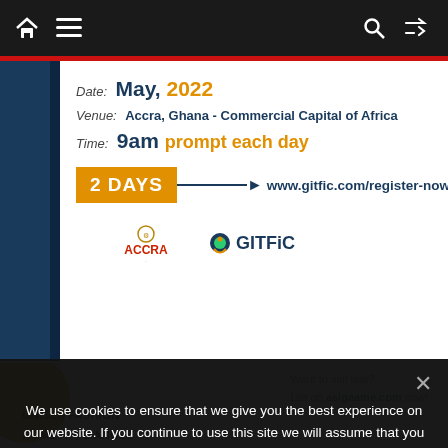Navigation bar with home, menu, search, and shuffle icons
[Figure (infographic): Event announcement: Date: May, 2022 | Venue: Accra, Ghana - Commercial Capital of Africa | Time: 9am prompt each day | 2 DAYS | www.gitfic.com/register-now/ | Logos: ACCRA and GITFIC]
[Figure (infographic): Ad banner: Want to sell fast? List on asigaame.com now! Categories: UNISEX FASHION, HOME APPLIANCES, SMART DEVICES. Orange circle accent.]
We use cookies to ensure that we give you the best experience on our website. If you continue to use this site we will assume that you are happy with it.